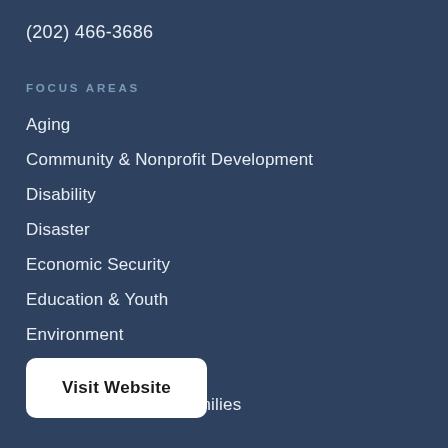(202) 466-3686
FOCUS AREAS
Aging
Community & Nonprofit Development
Disability
Disaster
Economic Security
Education & Youth
Environment
Health & Nutrition
Veterans & Military Families
Visit Website